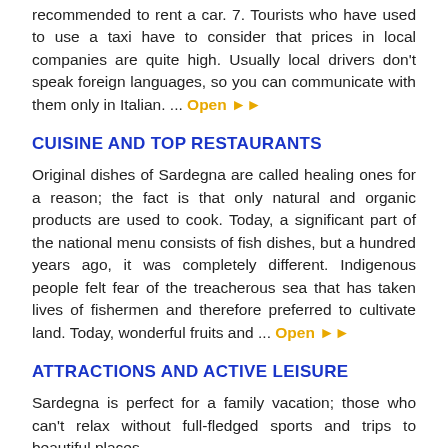recommended to rent a car. 7. Tourists who have used to use a taxi have to consider that prices in local companies are quite high. Usually local drivers don't speak foreign languages, so you can communicate with them only in Italian. ... Open
CUISINE AND TOP RESTAURANTS
Original dishes of Sardegna are called healing ones for a reason; the fact is that only natural and organic products are used to cook. Today, a significant part of the national menu consists of fish dishes, but a hundred years ago, it was completely different. Indigenous people felt fear of the treacherous sea that has taken lives of fishermen and therefore preferred to cultivate land. Today, wonderful fruits and ... Open
ATTRACTIONS AND ACTIVE LEISURE
Sardegna is perfect for a family vacation; those who can't relax without full-fledged sports and trips to beautiful places